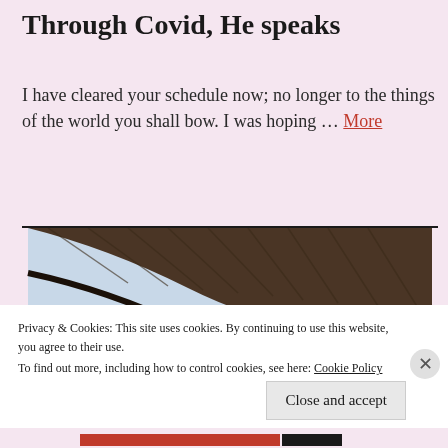Through Covid, He speaks
I have cleared your schedule now; no longer to the things of the world you shall bow. I was hoping … More
[Figure (photo): Photograph showing an angled view of what appears to be a ceiling or overhanging structure with a sky background visible below it.]
Privacy & Cookies: This site uses cookies. By continuing to use this website, you agree to their use.
To find out more, including how to control cookies, see here: Cookie Policy
Close and accept